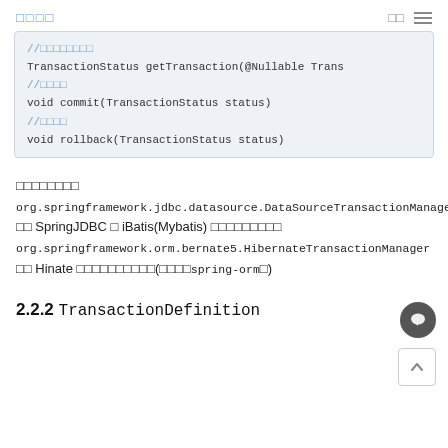□□□□  □□  ≡
[Figure (screenshot): Code block showing Java interface methods: comment line in Chinese, TransactionStatus getTransaction(@Nullable Trans..., comment, void commit(TransactionStatus status), comment, void rollback(TransactionStatus status)]
□□□□□□□□ org.springframework.jdbc.datasource.DataSourceTransactionManager □□ SpringJDBC □ iBatis(Mybatis) □□□□□□□□□ org.springframework.orm.bernate5.HibernateTransactionManager □□ Hibernate □□□□□□□□□(□□□□spring-orm□)
2.2.2 TransactionDefinition